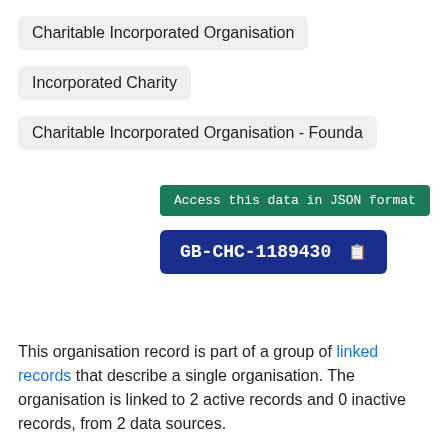Charitable Incorporated Organisation
Incorporated Charity
Charitable Incorporated Organisation - Founda
Access this data in JSON format
GB-CHC-1189430
This organisation record is part of a group of linked records that describe a single organisation. The organisation is linked to 2 active records and 0 inactive records, from 2 data sources.